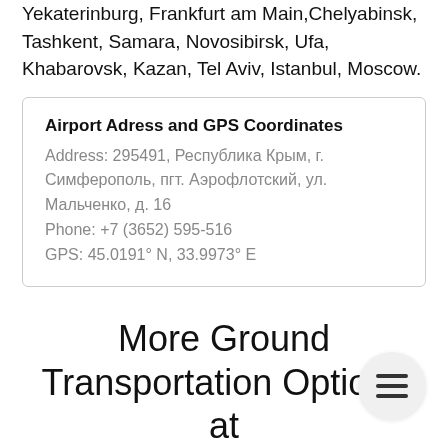Yekaterinburg, Frankfurt am Main, Chelyabinsk, Tashkent, Samara, Novosibirsk, Ufa, Khabarovsk, Kazan, Tel Aviv, Istanbul, Moscow.
Airport Adress and GPS Coordinates
Address: 295491, Республика Крым, г. Симферополь, пгт. Аэрофлотский, ул. Мальченко, д. 16
Phone: +7 (3652) 595-516
GPS: 45.0191° N, 33.9973° E
More Ground Transportation Options at